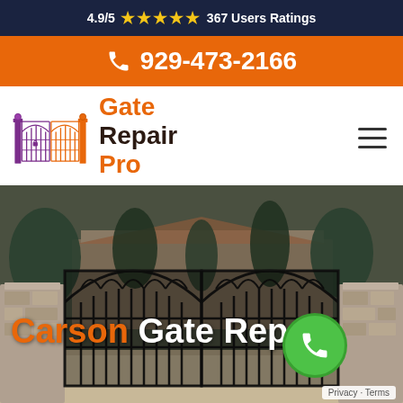4.9/5 ★★★★★ 367 Users Ratings
929-473-2166
[Figure (logo): Gate Repair Pro logo with decorative iron gate icon and text 'Gate Repair Pro']
[Figure (photo): Decorative wrought iron double gate in front of a large home with stone pillars and trees in background]
Carson Gate Repair